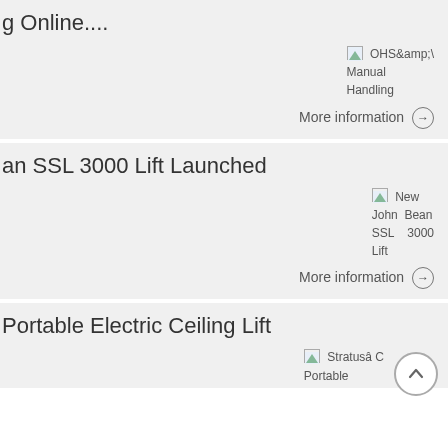g Online....
[Figure (illustration): Broken image placeholder for OHS&amp; Manual Handling]
More information →
an SSL 3000 Lift Launched
[Figure (illustration): Broken image placeholder for New John Bean SSL 3000 Lift]
More information →
Portable Electric Ceiling Lift
[Figure (illustration): Broken image placeholder for Stratusâ C Portable]